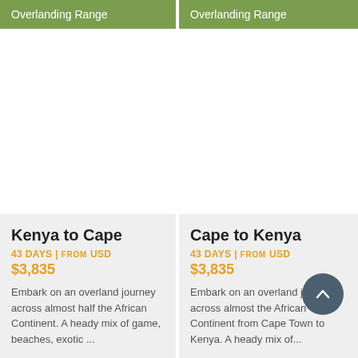Overlanding Range
Overlanding Range
Kenya to Cape
43 DAYS | FROM USD $3,835
Embark on an overland journey across almost half the African Continent. A heady mix of game, beaches, exotic ...
Cape to Kenya
43 DAYS | FROM USD $3,835
Embark on an overland journey across almost the African Continent from Cape Town to Kenya. A heady mix of...